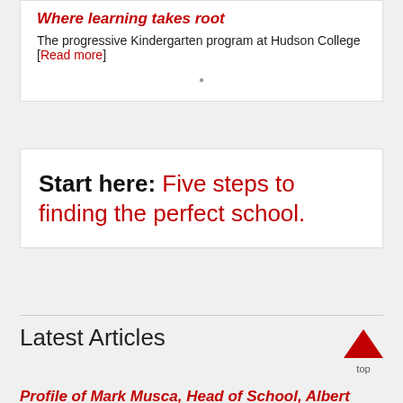Where learning takes root
The progressive Kindergarten program at Hudson College [Read more]
Start here: Five steps to finding the perfect school.
Latest Articles
Profile of Mark Musca, Head of School, Albert Coll...